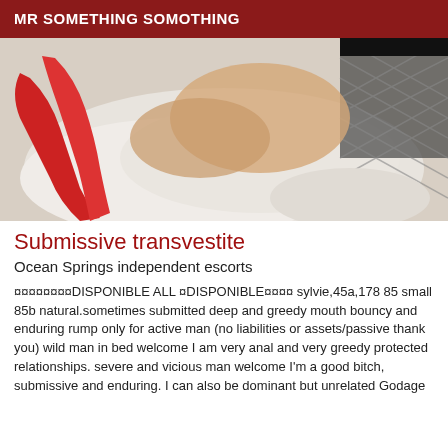MR SOMETHING SOMOTHING
[Figure (photo): Photo of a person on a bed wearing red gloves and fishnet stockings]
Submissive transvestite
Ocean Springs independent escorts
¤¤¤¤¤¤¤¤DISPONIBLE ALL ¤DISPONIBLE¤¤¤¤ sylvie,45a,178 85 small 85b natural.sometimes submitted deep and greedy mouth bouncy and enduring rump only for active man (no liabilities or assets/passive thank you) wild man in bed welcome I am very anal and very greedy protected relationships. severe and vicious man welcome I'm a good bitch, submissive and enduring. I can also be dominant but unrelated Godage